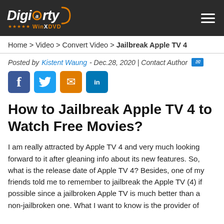Digiarty WinXDVD
Home > Video > Convert Video > Jailbreak Apple TV 4
Posted by Kistent Waung - Dec.28, 2020 | Contact Author
[Figure (other): Social share buttons: Facebook, Twitter, Email, LinkedIn]
How to Jailbreak Apple TV 4 to Watch Free Movies?
I am really attracted by Apple TV 4 and very much looking forward to it after gleaning info about its new features. So, what is the release date of Apple TV 4? Besides, one of my friends told me to remember to jailbreak the Apple TV (4) if possible since a jailbroken Apple TV is much better than a non-jailbroken one. What I want to know is the provider of